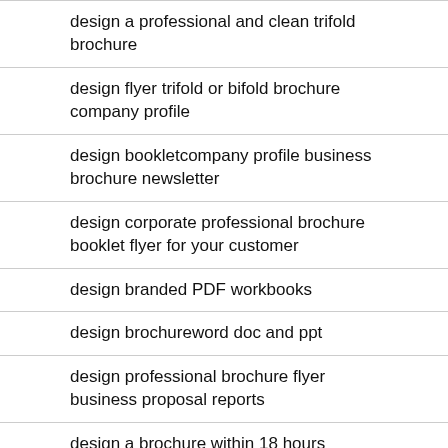design a professional and clean trifold brochure
design flyer trifold or bifold brochure company profile
design bookletcompany profile business brochure newsletter
design corporate professional brochure booklet flyer for your customer
design branded PDF workbooks
design brochureword doc and ppt
design professional brochure flyer business proposal reports
design a brochure within 18 hours
design business brochure company profile proposal booklet report